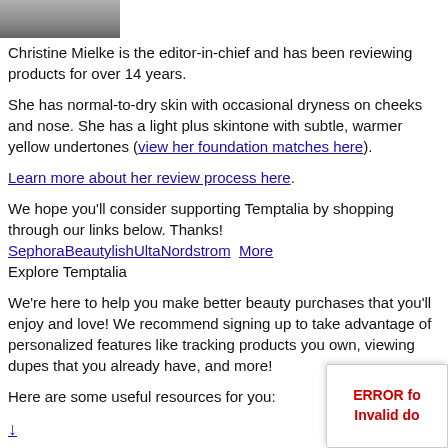[Figure (photo): Partial photo of a person, cropped at top, showing lower face/neck area with dark background/clothing]
Christine Mielke is the editor-in-chief and has been reviewing products for over 14 years.
She has normal-to-dry skin with occasional dryness on cheeks and nose. She has a light plus skintone with subtle, warmer yellow undertones (view her foundation matches here).
Learn more about her review process here.
We hope you'll consider supporting Temptalia by shopping through our links below. Thanks!
SephoraBeautylishUltaNordstrom More
Explore Temptalia
We're here to help you make better beauty purchases that you'll enjoy and love! We recommend signing up to take advantage of personalized features like tracking products you own, viewing dupes that you already have, and more!
Here are some useful resources for you:
[Figure (other): ERROR for Invalid domain notice box in bottom-right corner]